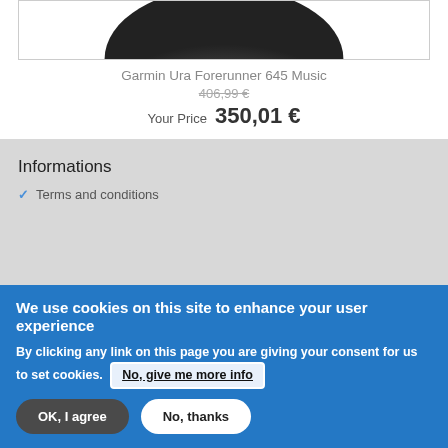[Figure (photo): Partial view of a Garmin smartwatch from top, showing the curved dark bezel]
Garmin Ura Forerunner 645 Music
406,99 €
Your Price  350,01 €
Informations
Terms and conditions
We use cookies on this site to enhance your user experience
By clicking any link on this page you are giving your consent for us to set cookies. No, give me more info
OK, I agree   No, thanks